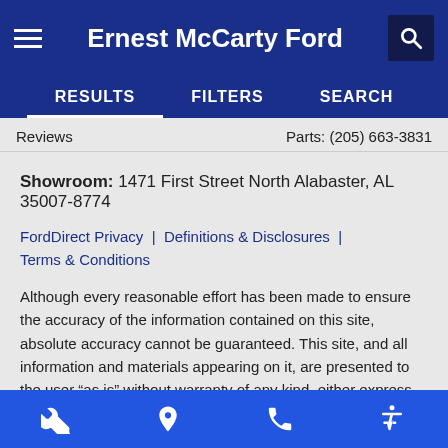Ernest McCarty Ford
RESULTS   FILTERS   SEARCH
Reviews   Parts: (205) 663-3831
Showroom: 1471 First Street North Alabaster, AL 35007-8774
FordDirect Privacy | Definitions & Disclosures | Terms & Conditions
Although every reasonable effort has been made to ensure the accuracy of the information contained on this site, absolute accuracy cannot be guaranteed. This site, and all information and materials appearing on it, are presented to the user “as is” without warranty of any kind, either express or implied. All vehicles are subject to prior sale. Price does not include applicable tax, title, and license charges. †Vehicles shown at